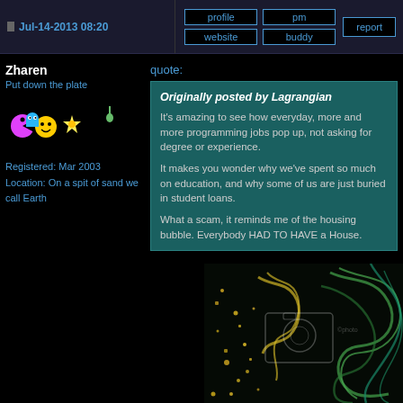Jul-14-2013 08:20
Zharen
Put down the plate
Registered: Mar 2003
Location: On a spit of sand we call Earth
quote:
Originally posted by Lagrangian
It's amazing to see how everyday, more and more programming jobs pop up, not asking for degree or experience.
It makes you wonder why we've spent so much on education, and why some of us are just buried in student loans.
What a scam, it reminds me of the housing bubble. Everybody HAD TO HAVE a House.
[Figure (photo): Dark artistic image showing glowing green/yellow smoke patterns and scattered golden particles against a black background, with a watermark camera icon overlay]